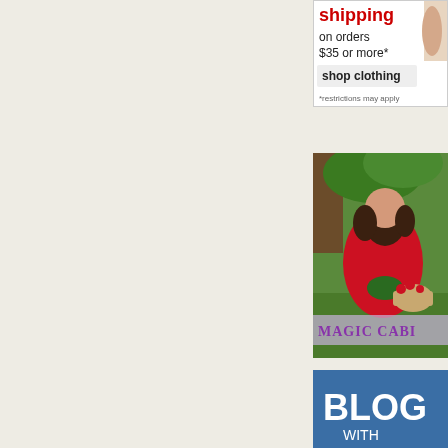[Figure (screenshot): Advertisement banner: 'shipping on orders $35 or more* shop clothing *restrictions may apply' with red text for 'shipping' and a partial image of a hand on the right]
[Figure (photo): Magic Cabin advertisement showing a young girl with curly hair wearing a red cape dress, crouching outdoors on grass with a basket. Text at bottom reads 'MAGIC CABIN' in purple stylized font.]
[Figure (screenshot): Blue banner advertisement with white text reading 'BLOG WITH']